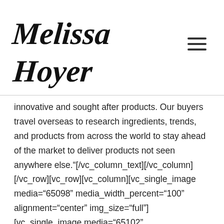[Figure (logo): Melissa Hoyer cursive/handwritten signature-style logo in black on white background]
innovative and sought after products. Our buyers travel overseas to research ingredients, trends, and products from across the world to stay ahead of the market to deliver products not seen anywhere else."[/vc_column_text][/vc_column][/vc_row][vc_row][vc_column][vc_single_image media="65098" media_width_percent="100" alignment="center" img_size="full"][vc_single_image media="65102" media_width_percent="100" alignment="center"